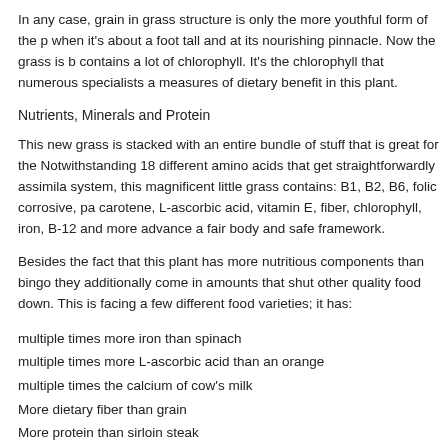In any case, grain in grass structure is only the more youthful form of the p when it's about a foot tall and at its nourishing pinnacle. Now the grass is b contains a lot of chlorophyll. It's the chlorophyll that numerous specialists a measures of dietary benefit in this plant.
Nutrients, Minerals and Protein
This new grass is stacked with an entire bundle of stuff that is great for the Notwithstanding 18 different amino acids that get straightforwardly assimila system, this magnificent little grass contains: B1, B2, B6, folic corrosive, pa carotene, L-ascorbic acid, vitamin E, fiber, chlorophyll, iron, B-12 and more advance a fair body and safe framework.
Besides the fact that this plant has more nutritious components than bingo they additionally come in amounts that shut other quality food down. This is facing a few different food varieties; it has:
multiple times more iron than spinach
multiple times more L-ascorbic acid than an orange
multiple times the calcium of cow's milk
More dietary fiber than grain
More protein than sirloin steak
Medical advantages of Barley Grass